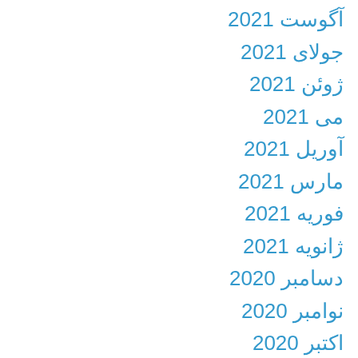آگوست 2021
جولای 2021
ژوئن 2021
می 2021
آوریل 2021
مارس 2021
فوریه 2021
ژانویه 2021
دسامبر 2020
نوامبر 2020
اکتبر 2020
سپتامبر 2020
آگوست 2020